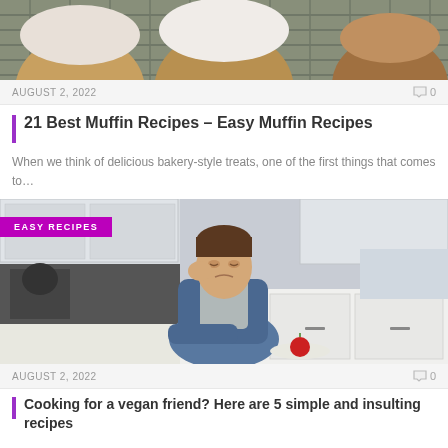[Figure (photo): Top portion of muffins on a cooling rack, partially cropped at top]
AUGUST 2, 2022   ☺0
21 Best Muffin Recipes – Easy Muffin Recipes
When we think of delicious bakery-style treats, one of the first things that comes to…
[Figure (photo): Man sitting at kitchen counter looking bored or sad, with a tomato on a plate in front of him. EASY RECIPES badge overlaid top-left.]
AUGUST 2, 2022   ☺0
Cooking for a vegan friend? Here are 5 simple and insulting recipes